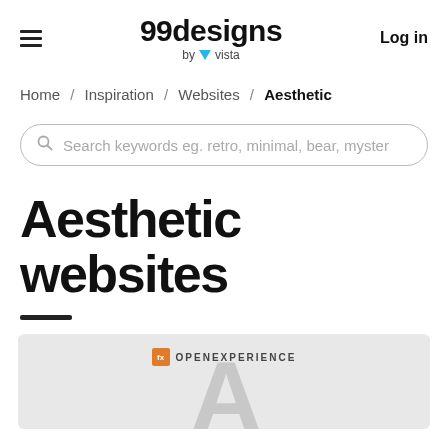99designs by vista | Log in
Home / Inspiration / Websites / Aesthetic
Search keywords eg. retro, minimal, bear, myster
Aesthetic websites
[Figure (screenshot): Preview of a website design called OPENEXPERIENCE with a large stylized letter A visible at the bottom on a light gray background]